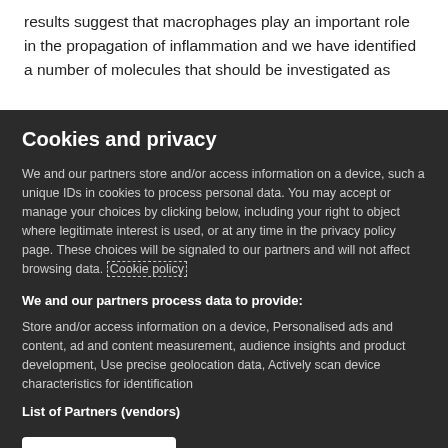results suggest that macrophages play an important role in the propagation of inflammation and we have identified a number of molecules that should be investigated as
Cookies and privacy
We and our partners store and/or access information on a device, such a unique IDs in cookies to process personal data. You may accept or manage your choices by clicking below, including your right to object where legitimate interest is used, or at any time in the privacy policy page. These choices will be signaled to our partners and will not affect browsing data. Cookie policy
We and our partners process data to provide:
Store and/or access information on a device, Personalised ads and content, ad and content measurement, audience insights and product development, Use precise geolocation data, Actively scan device characteristics for identification
List of Partners (vendors)
I Accept